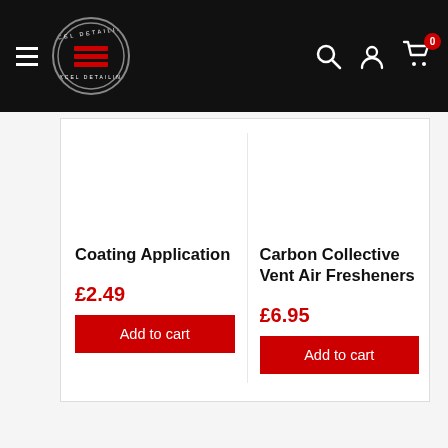[Figure (logo): Excel Detailing circular logo with red horizontal stripes on black header navigation bar with hamburger menu, search icon, account icon, and cart icon with badge showing 0]
Coating Application
£2.49
Add to cart
Carbon Collective Vent Air Fresheners
£6.95
Add to cart